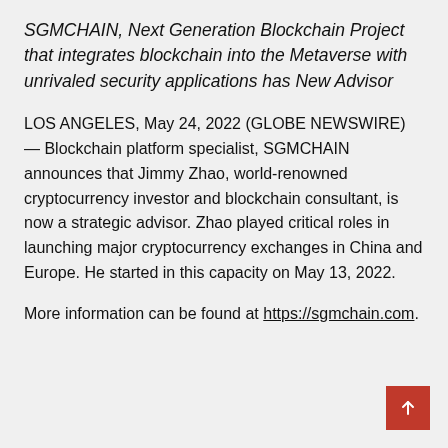SGMCHAIN, Next Generation Blockchain Project that integrates blockchain into the Metaverse with unrivaled security applications has New Advisor
LOS ANGELES, May 24, 2022 (GLOBE NEWSWIRE) — Blockchain platform specialist, SGMCHAIN announces that Jimmy Zhao, world-renowned cryptocurrency investor and blockchain consultant, is now a strategic advisor. Zhao played critical roles in launching major cryptocurrency exchanges in China and Europe. He started in this capacity on May 13, 2022.
More information can be found at https://sgmchain.com.